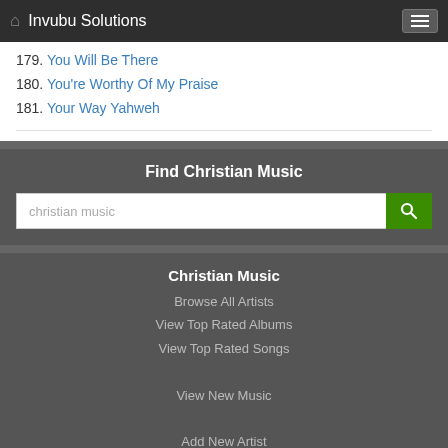Invubu Solutions
179. You Will Be There
180. You're Worthy Of My Praise
181. Your Way Yahweh
Find Christian Music
christian music
Christian Music
Browse All Artists
View Top Rated Albums
View Top Rated Songs
View New Music
Add New Artist